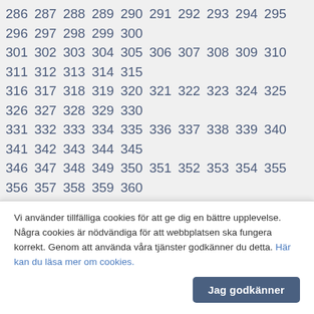286 287 288 289 290 291 292 293 294 295 296 297 298 299 300 301 302 303 304 305 306 307 308 309 310 311 312 313 314 315 316 317 318 319 320 321 322 323 324 325 326 327 328 329 330 331 332 333 334 335 336 337 338 339 340 341 342 343 344 345 346 347 348 349 350 351 352 353 354 355 356 357 358 359 360 361 362 363 364 365 366 367 368 369 370 371 372 373 374 375 376 377 378 379 380 381 382 383 384 385 386 387 388 389 390 391 392 393 394 395 396 397 398 399 400 401 402 403 404 405 406 407 408 409 410 411 412 413 414 415 416 417 418 419 420 421 422 423 424 425 426 427 428 429 430 431 432 433 434 435 436 437 438 439 440 441 442 443 444 445 446 447 448 449 450 451 452 453 454 455 456 457 458 459 460 461 462 463 464 465 466 467 468 469 470 471 472 473 474 475 476 477 478 479 480 481 482 483 484 485 486 487 488 489 490 491 492 493 494 495 496 497 498 499 500 501 502 503 504 505 506 507 508 509 510 511 512 513 514 515 516 517 518 519 520 521 522 523 524 525
Vi använder tillfälliga cookies för att ge dig en bättre upplevelse. Några cookies är nödvändiga för att webbplatsen ska fungera korrekt. Genom att använda våra tjänster godkänner du detta. Här kan du läsa mer om cookies.